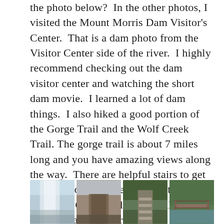the photo below?  In the other photos, I visited the Mount Morris Dam Visitor's Center.  That is a dam photo from the Visitor Center side of the river.  I highly recommend checking out the dam visitor center and watching the short dam movie.  I learned a lot of dam things.  I also hiked a good portion of the Gorge Trail and the Wolf Creek Trail. The gorge trail is about 7 miles long and you have amazing views along the way.  There are helpful stairs to get you up and down the steep sections.  The Wolf Creek trail has a really pretty waterfall and neat bridge.
[Figure (photo): Four outdoor trail and nature photos in a row: waterfall, gorge/dam view, stone stairs in forest, wooden bridge over creek]